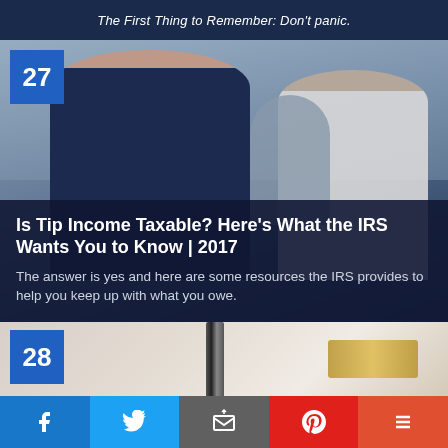The First Thing to Remember: Don't panic.
[Figure (photo): Restaurant workers including a woman in a dark apron looking stressed, with kitchen staff in background]
Is Tip Income Taxable? Here's What the IRS Wants You to Know | 2017
The answer is yes and here are some resources the IRS provides to help you keep up with what you owe.
[Figure (photo): Partial view of card 28 showing a pen and gold object on a white/marble surface]